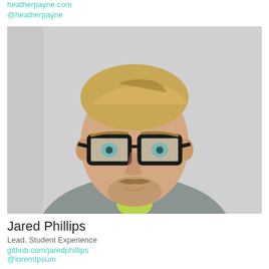heatherpayne.com
@heatherpayne
[Figure (photo): Headshot photo of a man with blonde hair, thick black rectangular glasses, stubble/beard, wearing a grey cardigan over a yellow-green shirt, photographed against a light grey background.]
Jared Phillips
Lead, Student Experience
github.com/jaredphillips
@loremIpsum